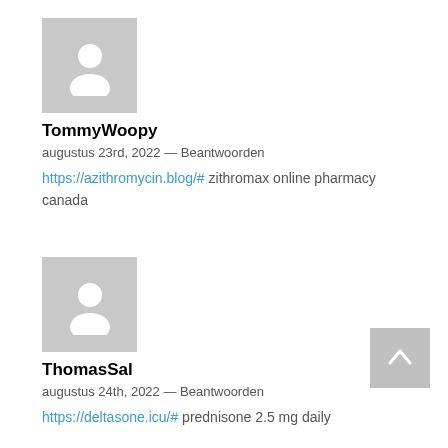[Figure (illustration): Generic user avatar placeholder — grey square with white silhouette of a person]
TommyWoopy
augustus 23rd, 2022 — Beantwoorden
https://azithromycin.blog/# zithromax online pharmacy canada
[Figure (illustration): Generic user avatar placeholder — grey square with white silhouette of a person]
ThomasSal
augustus 24th, 2022 — Beantwoorden
https://deltasone.icu/# prednisone 2.5 mg daily